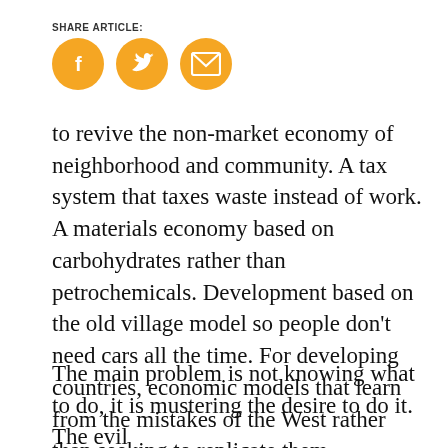SHARE ARTICLE:
[Figure (illustration): Three social sharing icon circles in orange/yellow: Facebook (f), Twitter (bird), and Email (envelope)]
to revive the non-market economy of neighborhood and community. A tax system that taxes waste instead of work. A materials economy based on carbohydrates rather than petrochemicals. Development based on the old village model so people don’t need cars all the time. For developing countries, economic models that learn from the mistakes of the West rather than seeking to replicate them.
The main problem is not knowing what to do, it is mustering the desire to do it. The evil